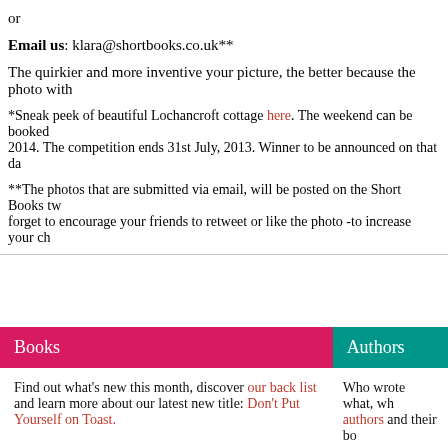or
Email us: klara@shortbooks.co.uk**
The quirkier and more inventive your picture, the better because the photo with
*Sneak peek of beautiful Lochancroft cottage here. The weekend can be booked 2014. The competition ends 31st July, 2013. Winner to be announced on that da
**The photos that are submitted via email, will be posted on the Short Books tw forget to encourage your friends to retweet or like the photo -to increase your ch
Books
Authors
Find out what's new this month, discover our back list and learn more about our latest new title: Don't Put Yourself on Toast.
Who wrote what, wh authors and their bo